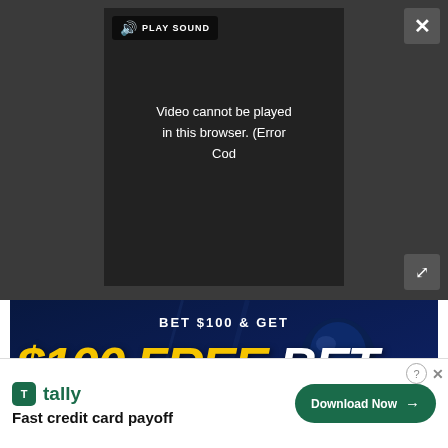[Figure (screenshot): Video player UI with dark background, sound icon and PLAY SOUND label, video error message reading 'Video cannot be played in this browser. (Error Cod', close X button top right, expand arrows bottom right]
Video cannot be played in this browser. (Error Cod
[Figure (photo): WynnBET sports betting advertisement with football player background. Text: BET $100 & GET $100 FREE BET NEW CUSTOMERS ONLY. Blue BET NOW button. Terms and conditions text at bottom.]
[Figure (screenshot): Tally app advertisement: tally logo, Fast credit card payoff, Download Now button]